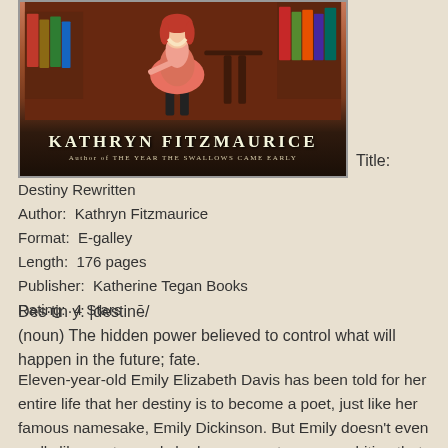[Figure (illustration): Book cover illustration showing a girl in a pink/orange dress in a library setting with books, dark warm tones. Author name KATHRYN FITZMAURICE displayed prominently with subtitle 'Author of THE YEAR THE SWALLOWS CAME EARLY'.]
Title:
Destiny Rewritten
Author:  Kathryn Fitzmaurice
Format:  E-galley
Length:  176 pages
Publisher:  Katherine Tegan Books
Rating:  4 Stars
Des·tin·y: |destinē/
(noun) The hidden power believed to control what will happen in the future; fate.
Eleven-year-old Emily Elizabeth Davis has been told for her entire life that her destiny is to become a poet, just like her famous namesake, Emily Dickinson. But Emily doesn't even really like poetry, and she has a secret career ambition that she suspects her English professor mother will frown on.